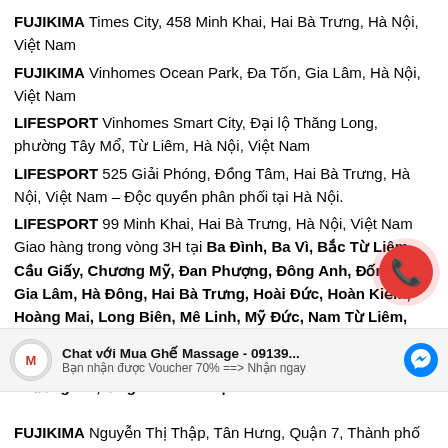FUJIKIMA Times City, 458 Minh Khai, Hai Bà Trưng, Hà Nội, Việt Nam
FUJIKIMA Vinhomes Ocean Park, Đa Tốn, Gia Lâm, Hà Nội, Việt Nam
LIFESPORT Vinhomes Smart City, Đại lộ Thăng Long, phường Tây Mổ, Từ Liêm, Hà Nội, Việt Nam
LIFESPORT 525 Giải Phóng, Đồng Tâm, Hai Bà Trưng, Hà Nội, Việt Nam – Độc quyền phân phối tại Hà Nội.
LIFESPORT 99 Minh Khai, Hai Bà Trưng, Hà Nội, Việt Nam Giao hàng trong vòng 3H tại Ba Đình, Ba Vì, Bắc Từ Liêm, Cầu Giấy, Chương Mỹ, Đan Phượng, Đông Anh, Đống Đa, Gia Lâm, Hà Đông, Hai Bà Trưng, Hoài Đức, Hoàn Kiếm, Hoàng Mai, Long Biên, Mê Linh, Mỹ Đức, Nam Từ Liêm, Phú Xuyên, Phúc Thọ, Quốc Oai, Sóc Sơn, Sơn Tây, Tây Hồ, Thạch Thất, Thanh Oai, Thanh Trì, Thanh Xuân, Thường Tín, Ứng Hòa – Hà Nội
[Figure (other): Chat bar with avatar logo, text 'Chat với Mua Ghế Massage - 09139...' and subtitle 'Bạn nhận được Voucher 70% ==> Nhận ngay', with Messenger icon]
FUJIKIMA Nguyễn Thị Thập, Tân Hưng, Quận 7, Thành phố